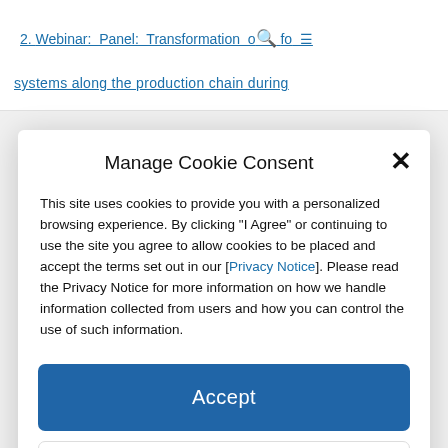2. Webinar: Panel: Transformation of fo
systems along the production chain during
Manage Cookie Consent
This site uses cookies to provide you with a personalized browsing experience. By clicking "I Agree" or continuing to use the site you agree to allow cookies to be placed and accept the terms set out in our [Privacy Notice]. Please read the Privacy Notice for more information on how we handle information collected from users and how you can control the use of such information.
Accept
Deny
View preferences
Cookie Policy   Privacy Statement